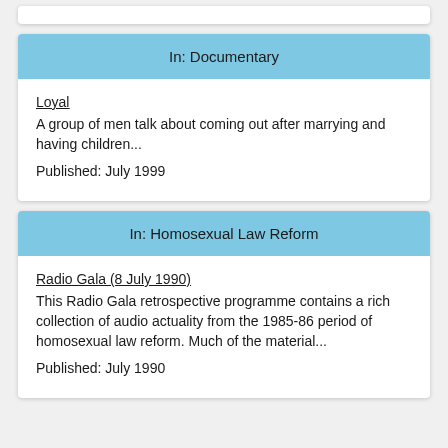In: Documentary
Loyal
A group of men talk about coming out after marrying and having children...
Published: July 1999
In: Homosexual Law Reform
Radio Gala (8 July 1990)
This Radio Gala retrospective programme contains a rich collection of audio actuality from the 1985-86 period of homosexual law reform. Much of the material...
Published: July 1990